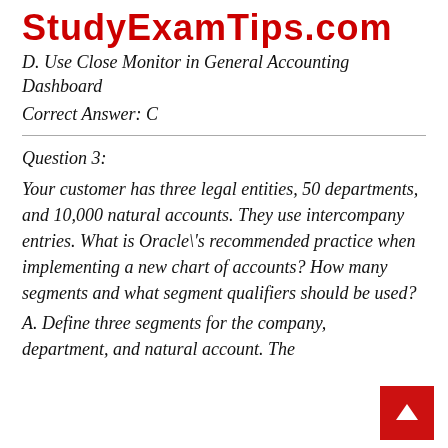StudyExamTips.com
D. Use Close Monitor in General Accounting Dashboard
Correct Answer: C
Question 3:
Your customer has three legal entities, 50 departments, and 10,000 natural accounts. They use intercompany entries. What is Oracle\'s recommended practice when implementing a new chart of accounts? How many segments and what segment qualifiers should be used?
A. Define three segments for the company, department, and natural account. The